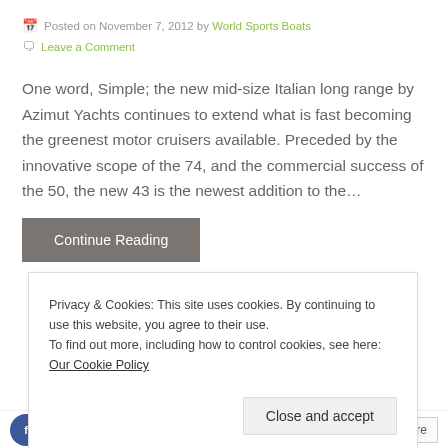Posted on November 7, 2012 by World Sports Boats
Leave a Comment
One word, Simple; the new mid-size Italian long range by Azimut Yachts continues to extend what is fast becoming the greenest motor cruisers available. Preceded by the innovative scope of the 74, and the commercial success of the 50, the new 43 is the newest addition to the…
Continue Reading
Privacy & Cookies: This site uses cookies. By continuing to use this website, you agree to their use.
To find out more, including how to control cookies, see here: Our Cookie Policy
Close and accept